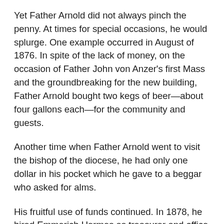Yet Father Arnold did not always pinch the penny. At times for special occasions, he would splurge. One example occurred in August of 1876. In spite of the lack of money, on the occasion of Father John von Anzer's first Mass and the groundbreaking for the new building, Father Arnold bought two kegs of beer—about four gallons each—for the community and guests.
Another time when Father Arnold went to visit the bishop of the diocese, he had only one dollar in his pocket which he gave to a beggar who asked for alms.
His fruitful use of funds continued. In 1878, he hired Emmerich Hermes as treasurer and office manager. For his services, Mr. Emmerich received free board and lodging with a salary of $25 a month.
Alms for the poor
Beggars who came to the entrance of the seminary were given a meal. This became a policy in all of the Divine Word mission seminaries. Father Arnold gave frequent conferences about care for the poor.